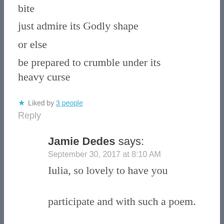bite
just admire its Godly shape
or else
be prepared to crumble under its heavy curse
★ Liked by 3 people
Reply
Jamie Dedes says:
September 30, 2017 at 8:10 AM
Iulia, so lovely to have you participate and with such a poem.